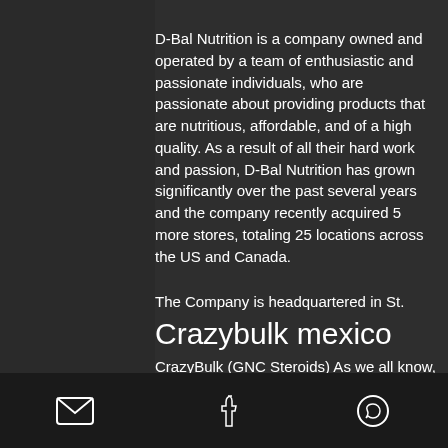D-Bal Nutrition is a company owned and operated by a team of enthusiastic and passionate individuals, who are passionate about providing products that are nutritious, affordable, and of a high quality. As a result of all their hard work and passion, D-Bal Nutrition has grown significantly over the past several years and the company recently acquired 5 more stores, totaling 25 locations across the US and Canada.
The Company is headquartered in St.
Crazybulk mexico
CrazyBulk (GNC Steroids) As we all know, CrazyBulk is the reputed name in dealing anabolic or legal steroids at a very good price range. This is not a cheap site and they
details about how to safely sell steroids